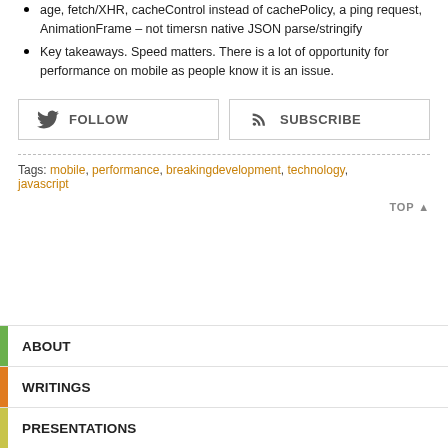age, fetch/XHR, cacheControl instead of cachePolicy, a ping request, AnimationFrame – not timersn native JSON parse/stringify
Key takeaways. Speed matters. There is a lot of opportunity for performance on mobile as people know it is an issue.
[Figure (other): FOLLOW button with Twitter bird icon and SUBSCRIBE button with RSS icon, side by side]
Tags: mobile, performance, breakingdevelopment, technology, javascript
TOP ▲
ABOUT
WRITINGS
PRESENTATIONS